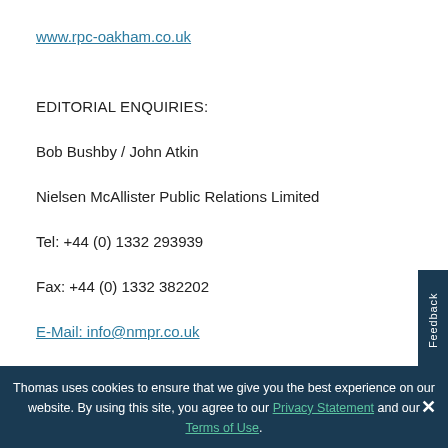www.rpc-oakham.co.uk
EDITORIAL ENQUIRIES:
Bob Bushby / John Atkin
Nielsen McAllister Public Relations Limited
Tel: +44 (0) 1332 293939
Fax: +44 (0) 1332 382202
E-Mail: info@nmpr.co.uk
Thomas uses cookies to ensure that we give you the best experience on our website. By using this site, you agree to our Privacy Statement and our Terms of Use.